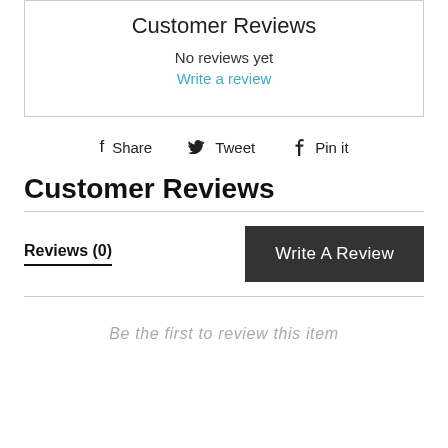Customer Reviews
No reviews yet
Write a review
f  Share    Tweet    Pin it
Customer Reviews
Reviews (0)
Write A Review
Be the first to review this item